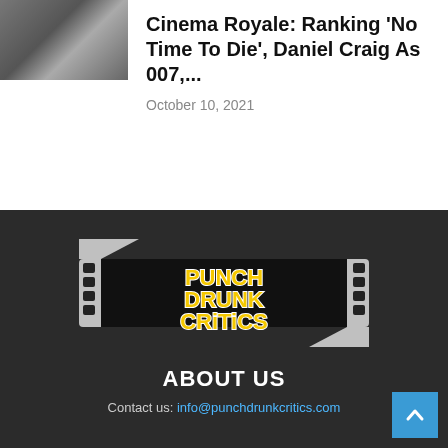[Figure (photo): Thumbnail image of movie scene, partially visible at top left]
Cinema Royale: Ranking ‘No Time To Die’, Daniel Craig As 007,...
October 10, 2021
[Figure (logo): Punch Drunk Critics logo — stylized film strip with yellow bubble text reading PUNCH DRUNK CRITICS on dark background]
ABOUT US
Contact us: info@punchdrunkcritics.com